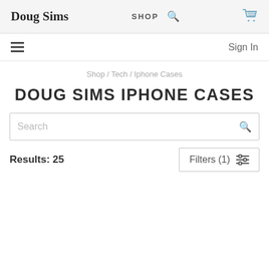Doug Sims | SHOP | [search icon] | [cart icon]
[hamburger menu] Sign In
Shop / Tech / Iphone Cases
DOUG SIMS IPHONE CASES
Search [search icon]
Results: 25
Filters (1) [filter icon]